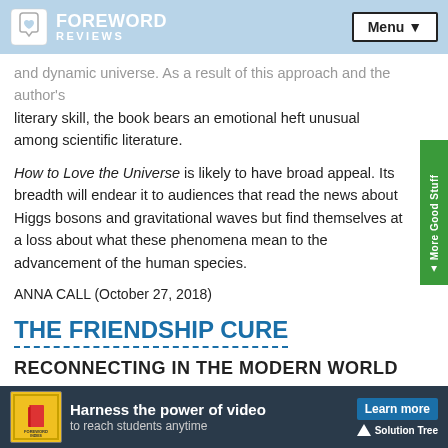FOREWORD REVIEWS | Menu
and dynamic universe. As a result of this approach and the author's literary skill, the book bears an emotional heft unusual among scientific literature.
How to Love the Universe is likely to have broad appeal. Its breadth will endear it to audiences that read the news about Higgs bosons and gravitational waves but find themselves at a loss about what these phenomena mean to the advancement of the human species.
ANNA CALL (October 27, 2018)
THE FRIENDSHIP CURE
RECONNECTING IN THE MODERN WORLD
[Figure (infographic): Advertisement banner: Harness the power of video to reach students anytime. Learn more. Solution Tree.]